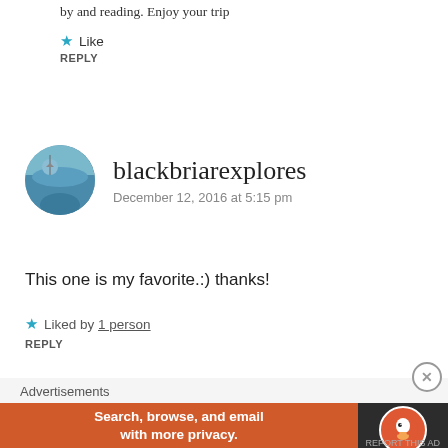by and reading. Enjoy your trip
★ Like
REPLY
[Figure (photo): Circular avatar photo of blackbriarexplores showing a person near water]
blackbriarexplores
December 12, 2016 at 5:15 pm
This one is my favorite.:) thanks!
★ Liked by 1 person
REPLY
Advertisements
[Figure (screenshot): DuckDuckGo advertisement banner: 'Search, browse, and email with more privacy. All in One Free App']